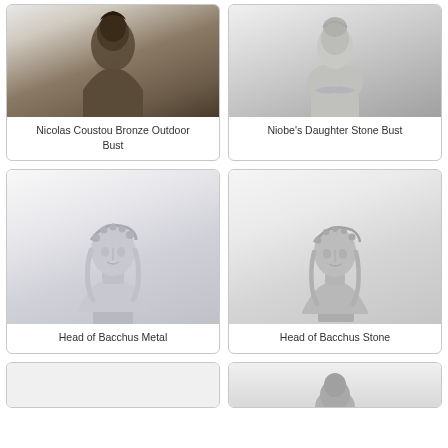[Figure (photo): Nicolas Coustou Bronze Outdoor Bust – dark bronze sculpture bust, cropped at top]
Nicolas Coustou Bronze Outdoor Bust
[Figure (photo): Niobe's Daughter Stone Bust – light gray stone sculpture bust, cropped at top]
Niobe's Daughter Stone Bust
[Figure (photo): Head of Bacchus Metal – silver metallic sculpture of Bacchus head with wreath and braided hair]
Head of Bacchus Metal
[Figure (photo): Head of Bacchus Stone – light gray stone sculpture of Bacchus head with wreath and braided hair]
Head of Bacchus Stone
[Figure (photo): Partial view of another sculpture card at the bottom left – cropped]
[Figure (photo): Partial view of another sculpture card at the bottom right – cropped]